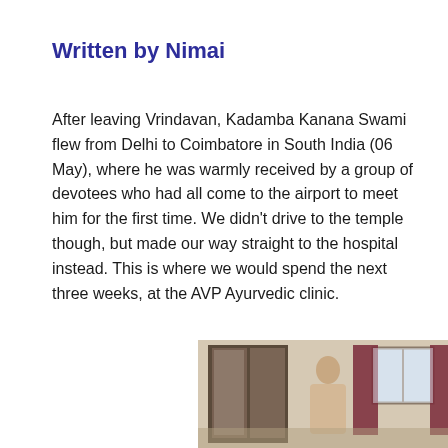Written by Nimai
After leaving Vrindavan, Kadamba Kanana Swami flew from Delhi to Coimbatore in South India (06 May), where he was warmly received by a group of devotees who had all come to the airport to meet him for the first time. We didn't drive to the temple though, but made our way straight to the hospital instead. This is where we would spend the next three weeks, at the AVP Ayurvedic clinic.
[Figure (photo): Interior room photo showing a person standing near a wardrobe/mirror with red curtains and a window in the background]